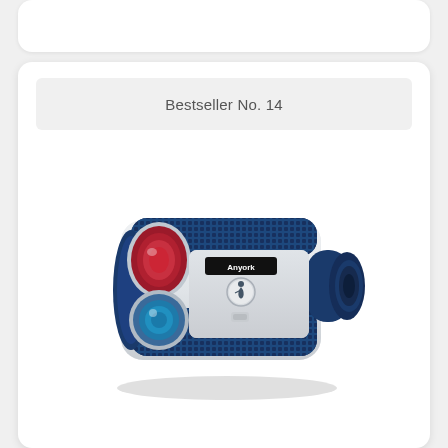Bestseller No. 14
[Figure (photo): Anyork brand golf laser rangefinder, compact device in blue and white/gray color scheme with red-tinted front lens and blue rear lens, shown at an angle on white background]